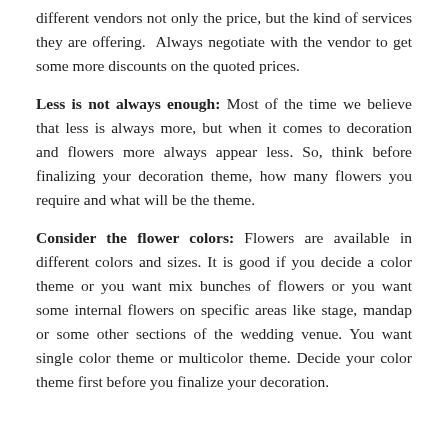different vendors not only the price, but the kind of services they are offering. Always negotiate with the vendor to get some more discounts on the quoted prices.
Less is not always enough: Most of the time we believe that less is always more, but when it comes to decoration and flowers more always appear less. So, think before finalizing your decoration theme, how many flowers you require and what will be the theme.
Consider the flower colors: Flowers are available in different colors and sizes. It is good if you decide a color theme or you want mix bunches of flowers or you want some internal flowers on specific areas like stage, mandap or some other sections of the wedding venue. You want single color theme or multicolor theme. Decide your color theme first before you finalize your decoration.